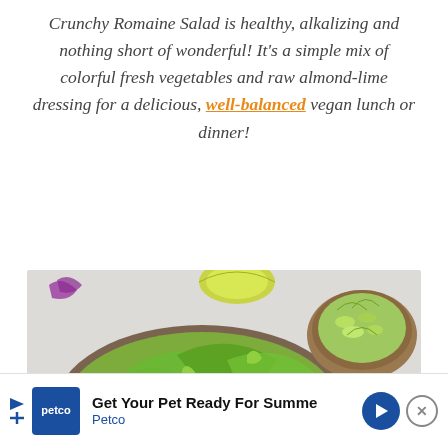Crunchy Romaine Salad is healthy, alkalizing and nothing short of wonderful! It's a simple mix of colorful fresh vegetables and raw almond-lime dressing for a delicious, well-balanced vegan lunch or dinner!
[Figure (photo): A bowl of crunchy romaine salad with colorful fresh vegetables including romaine lettuce, carrots, cucumbers, and purple cabbage, garnished with lime slices. A smaller wooden bowl with chopped green onions and edamame is visible in the upper right. A lime half is visible at the top center. The setting is on a light grey background.]
Get Your Pet Ready For Summe Petco